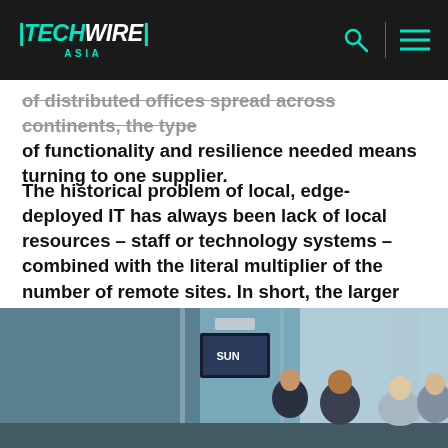TECHWIRE ASIA
of distributed offices spread across continents, the type of functionality and resilience needed means turning to one supplier.
The historical problem of local, edge-deployed IT has always been lack of local resources – staff or technology systems – combined with the literal multiplier of the number of remote sites. In short, the larger the number of facilities that opened up, the higher the burden on IT infrastructure and management.
[Figure (photo): People in a meeting room or office space, viewed through glass windows, with a screen visible in the background.]